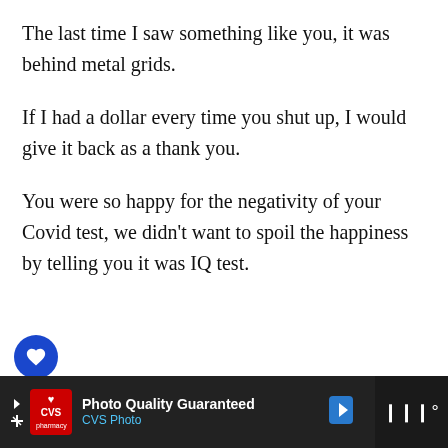The last time I saw something like you, it was behind metal grids.
If I had a dollar every time you shut up, I would give it back as a thank you.
You were so happy for the negativity of your Covid test, we didn't want to spoil the happiness by telling you it was IQ test.
honey, only thing bothering me is placed
[Figure (other): CVS Photo advertisement banner at bottom of screen with red CVS pharmacy logo, 'Photo Quality Guaranteed' text, blue navigation arrow icon, and dark right panel with menu icon]